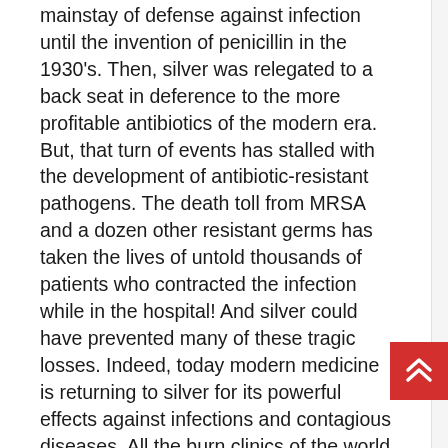mainstay of defense against infection until the invention of penicillin in the 1930's. Then, silver was relegated to a back seat in deference to the more profitable antibiotics of the modern era. But, that turn of events has stalled with the development of antibiotic-resistant pathogens. The death toll from MRSA and a dozen other resistant germs has taken the lives of untold thousands of patients who contracted the infection while in the hospital! And silver could have prevented many of these tragic losses. Indeed, today modern medicine is returning to silver for its powerful effects against infections and contagious diseases. All the burn clinics of the world utilize silver for the sterilization of b wounds. Surgeries are utilizing silver impregnated bandaging. Silver is used in Band-Aids® to combat infection. Silver is utilized in the